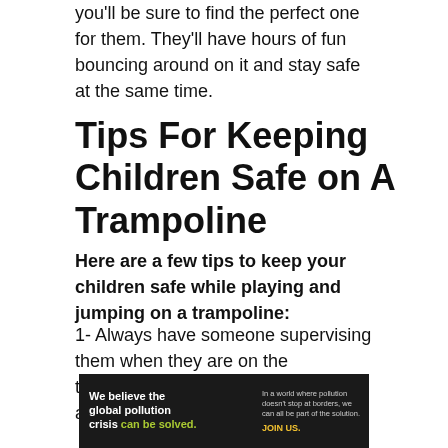you'll be sure to find the perfect one for them. They'll have hours of fun bouncing around on it and stay safe at the same time.
Tips For Keeping Children Safe on A Trampoline
Here are a few tips to keep your children safe while playing and jumping on a trampoline:
1- Always have someone supervising them when they are on the trampoline. This can be an adult or another child.
[Figure (other): Advertisement banner for Pure Earth organization with dark background. Left side reads 'We believe the global pollution crisis can be solved.' in white/green text. Middle reads 'In a world where pollution doesn't stop at borders, we can all be part of the solution. JOIN US.' Right side shows Pure Earth logo with diamond/layered icon and 'PURE EARTH' text on white background.]